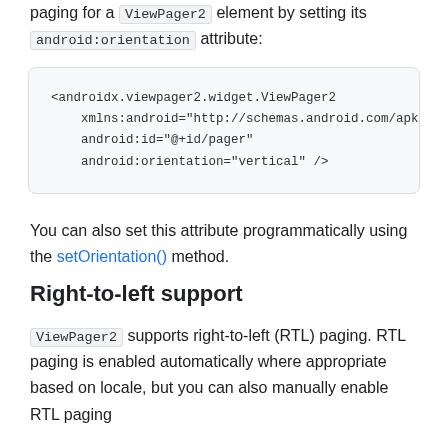paging for a ViewPager2 element by setting its android:orientation attribute:
You can also set this attribute programmatically using the setOrientation() method.
Right-to-left support
ViewPager2 supports right-to-left (RTL) paging. RTL paging is enabled automatically where appropriate based on locale, but you can also manually enable RTL paging